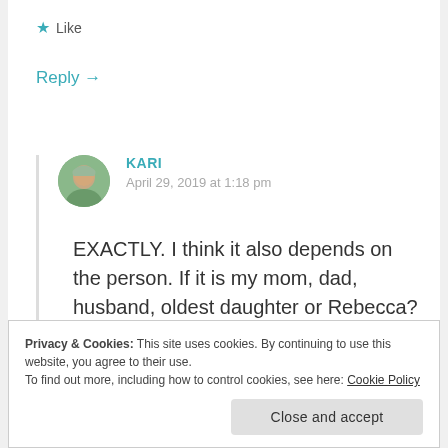★ Like
Reply →
[Figure (photo): Circular avatar photo of user Kari, showing a person outdoors with green background]
KARI
April 29, 2019 at 1:18 pm
EXACTLY. I think it also depends on the person. If it is my mom, dad, husband, oldest daughter or Rebecca? Then I am totally down for a phone convo.
Privacy & Cookies: This site uses cookies. By continuing to use this website, you agree to their use.
To find out more, including how to control cookies, see here: Cookie Policy
Close and accept